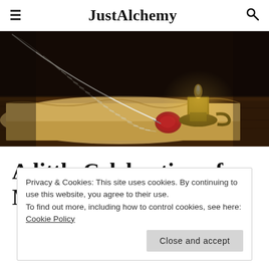JustAlchemy
[Figure (photo): Dark atmospheric photo of a quill pen resting on rolled parchment with a red wax seal, beside a lit brass candle holder, on a wooden surface]
A little Celebration of Mother's Love
Privacy & Cookies: This site uses cookies. By continuing to use this website, you agree to their use.
To find out more, including how to control cookies, see here: Cookie Policy
Close and accept